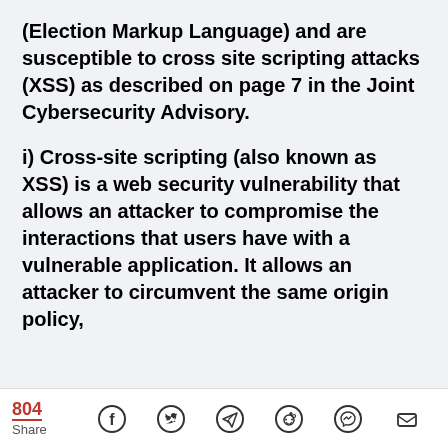(Election Markup Language) and are susceptible to cross site scripting attacks (XSS) as described on page 7 in the Joint Cybersecurity Advisory.
i) Cross-site scripting (also known as XSS) is a web security vulnerability that allows an attacker to compromise the interactions that users have with a vulnerable application. It allows an attacker to circumvent the same origin policy,
804 Share